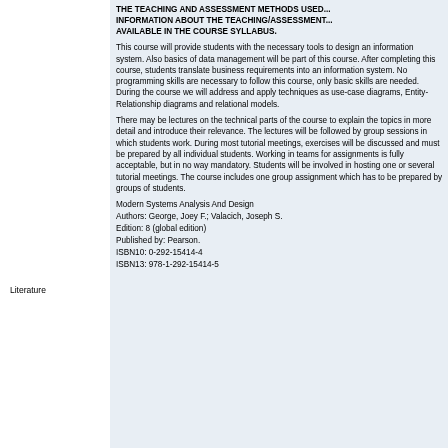THE TEACHING AND ASSESSMENT METHODS USED... INFORMATION ABOUT THE TEACHING/ASSESSMENT... AVAILABLE IN THE COURSE SYLLABUS.
This course will provide students with the necessary tools to design an information system. Also basics of data management will be part of this course. After completing this course, students translate business requirements into an information system. No programming skills are necessary to follow this course, only basic skills are needed.
During the course we will address and apply techniques as use-case diagrams, Entity-Relationship diagrams and relational models.
There may be lectures on the technical parts of the course to explain the topics in more detail and introduce their relevance. The lectures will be followed by group sessions in which students work. During most tutorial meetings, exercises will be discussed and must be prepared by all individual students. Working in teams for assignments is fully acceptable, but in no way mandatory. Students will be involved in hosting one or several tutorial meetings. The course includes one group assignment which has to be prepared by groups of students.
Modern Systems Analysis And Design
Authors: George, Joey F.; Valacich, Joseph S.
Edition: 8 (global edition)
Published by: Pearson.
ISBN10: 0-292-15414-4
ISBN13: 978-1-292-15414-5